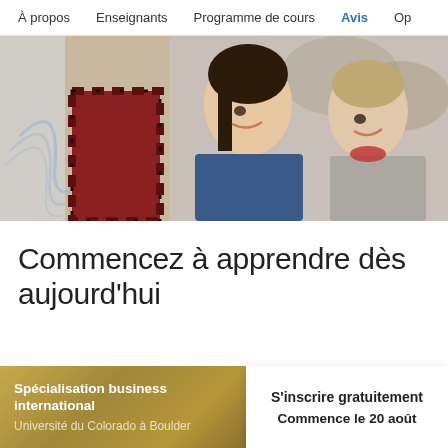À propos  Enseignants  Programme de cours  Avis  Op
[Figure (photo): Two women smiling and looking at something together; one wearing a denim jacket, the other in a grey cardigan with red scarf. Educational/collaborative setting.]
Commencez à apprendre dès aujourd'hui
Spécialisation business international
Université du Colorado à Boulder
S'inscrire gratuitement
Commence le 20 août